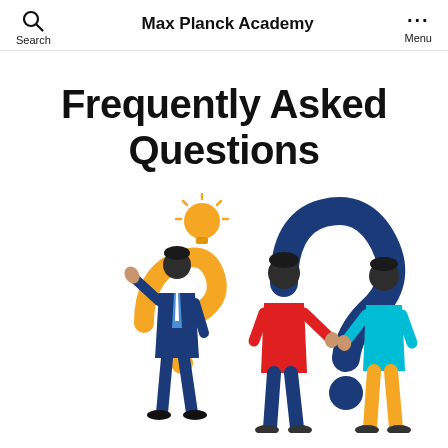Max Planck Academy
Frequently Asked Questions
[Figure (illustration): An illustration showing three people interacting with question marks. On the left, a person in a blue suit holds a large yellow question mark with a glowing lightbulb above. In the center and right, two people in casual clothes (red and teal shirts) hold a large blue question mark together.]